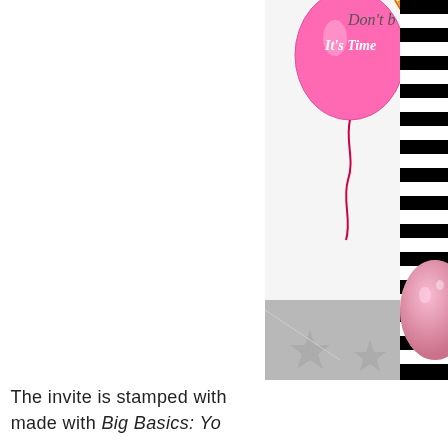[Figure (photo): Partial photo of a birthday party invitation card with a pink balloon, black and white stripes, orange ribbon elements, grey star-patterned background, and script text 'Don't' visible at top right. A pink glittery egg or oval shape is on the right side.]
The invite is stamped with made with Big Basics: Yo...